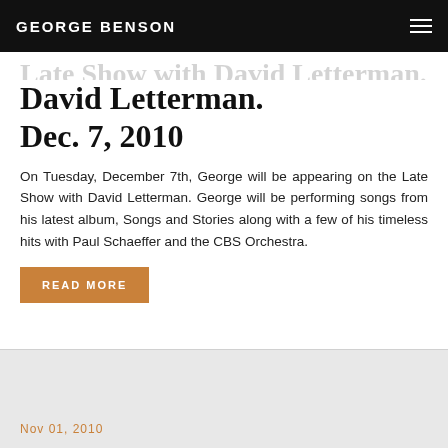GEORGE BENSON
Late Show with David Letterman. Dec. 7, 2010
On Tuesday, December 7th, George will be appearing on the Late Show with David Letterman. George will be performing songs from his latest album, Songs and Stories along with a few of his timeless hits with Paul Schaeffer and the CBS Orchestra.
Read More
Nov 01, 2010